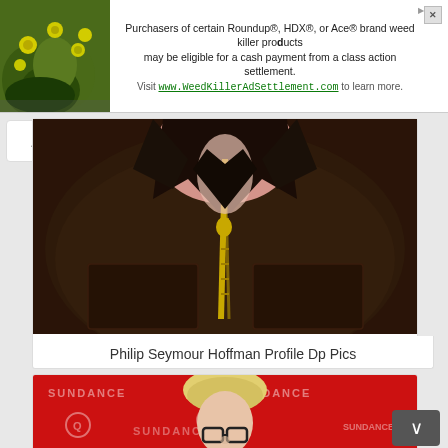[Figure (other): Advertisement banner for Roundup/HDX/Ace weed killer class action settlement with plant/flower image on left]
Purchasers of certain Roundup®, HDX®, or Ace® brand weed killer products may be eligible for a cash payment from a class action settlement. Visit www.WeedKillerAdSettlement.com to learn more.
[Figure (photo): Close-up photo of Philip Seymour Hoffman wearing a dark brown zip-up jacket, showing primarily torso and lower face/neck area]
Philip Seymour Hoffman Profile Dp Pics
[Figure (photo): Photo of Philip Seymour Hoffman with blonde/white hair and glasses at a Sundance event with red backdrop]